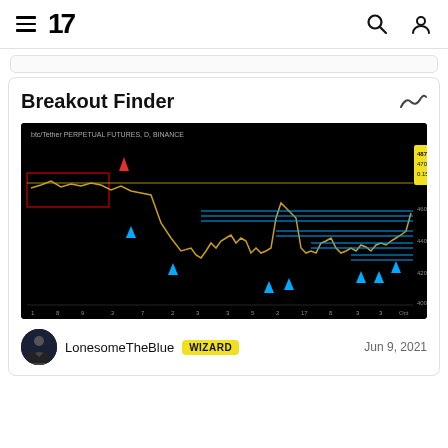TradingView navigation header with hamburger menu, logo '17', search and user icons
Breakout Finder
[Figure (screenshot): TradingView chart screenshot showing Bitcoin/Tether PERPETUAL FUTURES on Binance, black background, candlestick chart with blue horizontal support/resistance lines, red downtrend line, yellow horizontal level, blue triangle markers indicating breakout signals, and a yellow price label box on the right side showing price levels around 400-487. X-axis shows dates numbered 1 through Oct.]
LonesomeTheBlue WIZARD Jun 9, 2021